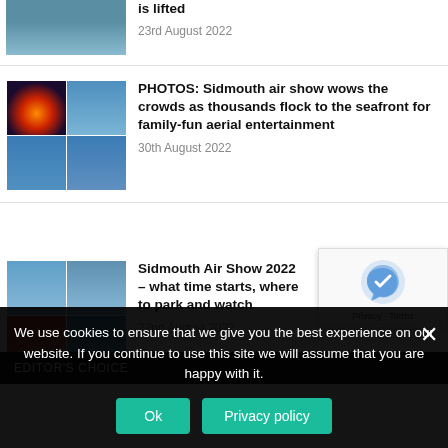[Figure (photo): Partial article thumbnail showing a person swimming]
is lifted
23rd August 2022
[Figure (photo): Collage of four images: fireworks explosion, jet planes in formation against blue sky]
PHOTOS: Sidmouth air show wows the crowds as thousands flock to the seafront for family-fun aerial entertainment
30th August 2022
[Figure (photo): Collage of four images: jet planes with contrails, RAF Red Arrows biplane and Spitfire]
Sidmouth Air Show 2022 – what time it starts, where to park and watch
22nd August 2022
EDITOR'S CHOICE
We use cookies to ensure that we give you the best experience on our website. If you continue to use this site we will assume that you are happy with it.
Ok
Privacy policy